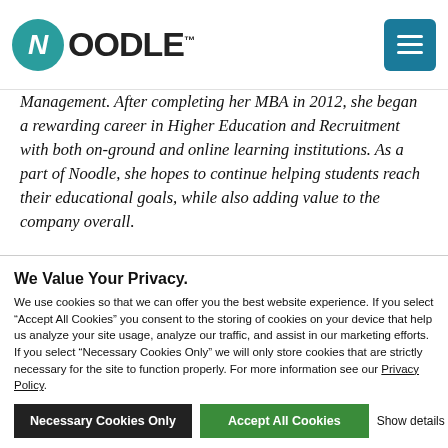Noodle
Management. After completing her MBA in 2012, she began a rewarding career in Higher Education and Recruitment with both on-ground and online learning institutions. As a part of Noodle, she hopes to continue helping students reach their educational goals, while also adding value to the company overall.
Meet Noodle Director of
We Value Your Privacy. We use cookies so that we can offer you the best website experience. If you select “Accept All Cookies” you consent to the storing of cookies on your device that help us analyze your site usage, analyze our traffic, and assist in our marketing efforts. If you select “Necessary Cookies Only” we will only store cookies that are strictly necessary for the site to function properly. For more information see our Privacy Policy.